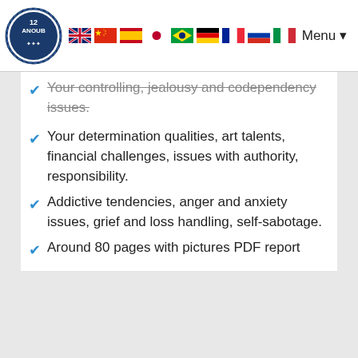Menu
Your controlling, jealousy and codependency issues.
Your determination qualities, art talents, financial challenges, issues with authority, responsibility.
Addictive tendencies, anger and anxiety issues, grief and loss handling, self-sabotage.
Around 80 pages with pictures PDF report